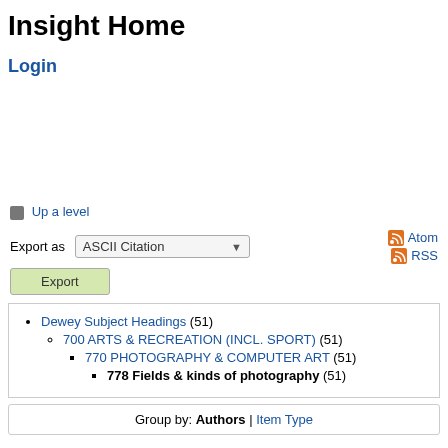Insight Home
Login
Up a level
Export as  ASCII Citation
Atom
RSS
Export
Dewey Subject Headings (51)
700 ARTS & RECREATION (INCL. SPORT) (51)
770 PHOTOGRAPHY & COMPUTER ART (51)
778 Fields & kinds of photography (51)
Group by: Authors | Item Type
Jump to: